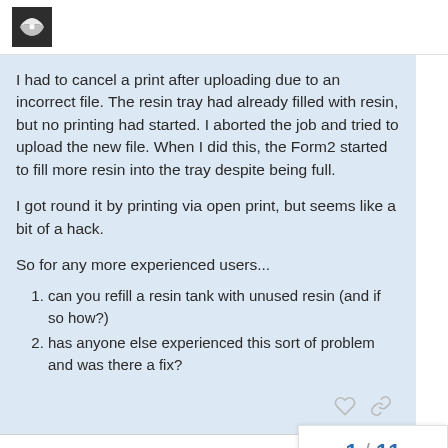[Formlabs community forum logo]
I had to cancel a print after uploading due to an incorrect file. The resin tray had already filled with resin, but no printing had started. I aborted the job and tried to upload the new file. When I did this, the Form2 started to fill more resin into the tray despite being full.
I got round it by printing via open print, but seems like a bit of a hack.
So for any more experienced users...
can you refill a resin tank with unused resin (and if so how?)
has anyone else experienced this sort of problem and was there a fix?
created   last reply   10        1 / 11